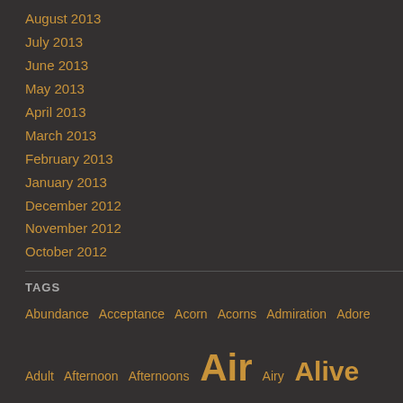August 2013
July 2013
June 2013
May 2013
April 2013
March 2013
February 2013
January 2013
December 2012
November 2012
October 2012
TAGS
Abundance Acceptance Acorn Acorns Admiration Adore Adult Afternoon Afternoons Air Airy Alive Almighty Alone Altar Altars Amazement Amazing America Ancient Ancient of Days Angel Angels Anger Animal Animals Anointed Anthem Anthers Anticipation Antiquity Apple Apples April Arbors Arctic Arms Aroma Aromas Art Artist